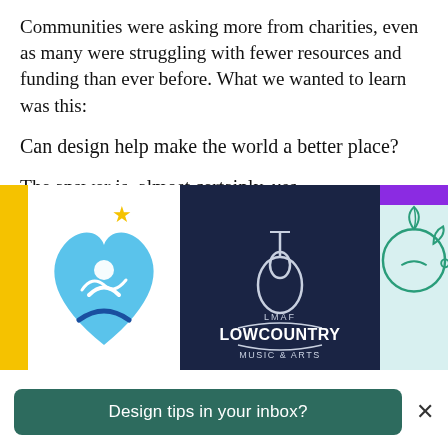Communities were asking more from charities, even as many were struggling with fewer resources and funding than ever before. What we wanted to learn was this:
Can design help make the world a better place?
The answer is, almost certainly, yes.
[Figure (illustration): Three charity/nonprofit logos side by side: left panel shows a yellow vertical bar and a blue heart-shaped logo with a star; middle panel shows LMAF Lowcountry Music & Arts logo on dark navy background; right panel shows a teal outline of a head with leaves on a light blue background with purple accent at top.]
Design tips in your inbox?